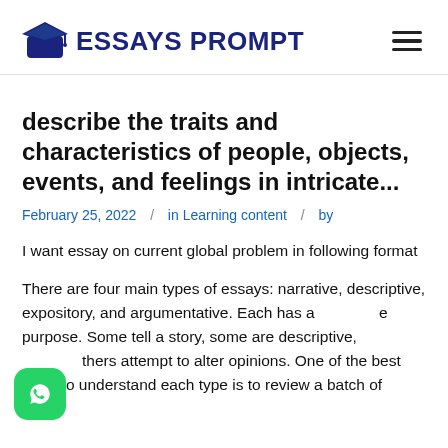ESSAYS PROMPT
describe the traits and characteristics of people, objects, events, and feelings in intricate...
February 25, 2022 / in Learning content / by
I want essay on current global problem in following format
There are four main types of essays: narrative, descriptive, expository, and argumentative. Each has a unique purpose. Some tell a story, some are descriptive, others attempt to alter opinions. One of the best ways to understand each type is to review a batch of